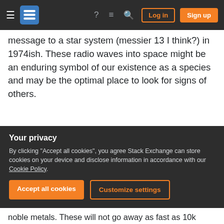Stack Exchange navigation bar with hamburger menu, logo, help, chat, search icons, Log in and Sign up buttons
message to a star system (messier 13 I think?) in 1974ish. These radio waves into space might be an enduring symbol of our existence as a species and may be the optimal place to look for signs of others.
Share
Improve this answer
Follow
edited Nov 25, 2014 at 20:32
answered Nov 24, 2014 at 18:51
Twelfth 24.1k ● 1 ● 38 ● 99
Your privacy
By clicking "Accept all cookies", you agree Stack Exchange can store cookies on your device and disclose information in accordance with our Cookie Policy.
Accept all cookies   Customize settings
noble metals. These will not go away as fast as 10k